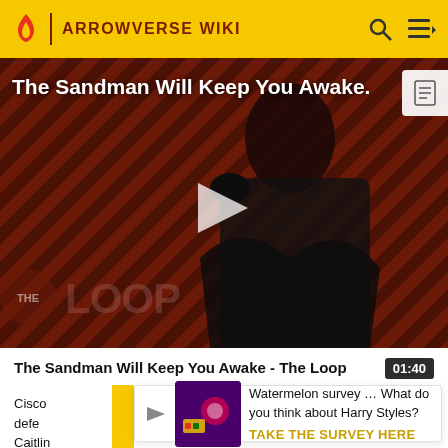ARROWVERSE WIKI
[Figure (screenshot): Video thumbnail showing a dark-robed figure against a diagonal striped red/brown background. Text overlay reads 'The Sandman Will Keep You Awake.' with THE LOOP watermark at bottom left. Play button in center. Document icon top right.]
The Sandman Will Keep You Awake - The Loop  01:40
Cisco defe Caitlin
Watermelon survey … What do you think about Harry Styles? TAKE THE SURVEY HERE